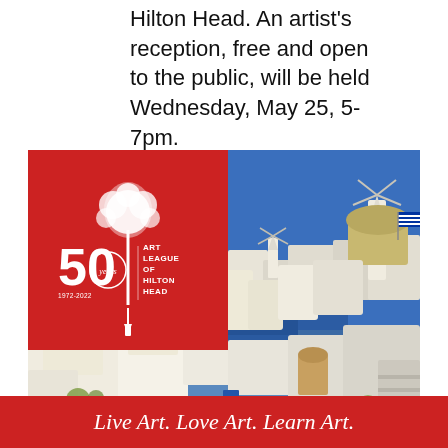Hilton Head. An artist's reception, free and open to the public, will be held Wednesday, May 25, 5-7pm.
[Figure (photo): Photo of Santorini, Greece showing white-washed buildings, windmills, a dome, and a Greek flag against a blue sky and sea. Overlaid in the upper-left corner is the Art League of Hilton Head 50th anniversary logo (1972-2022) on a red background.]
Live Art. Love Art. Learn Art.